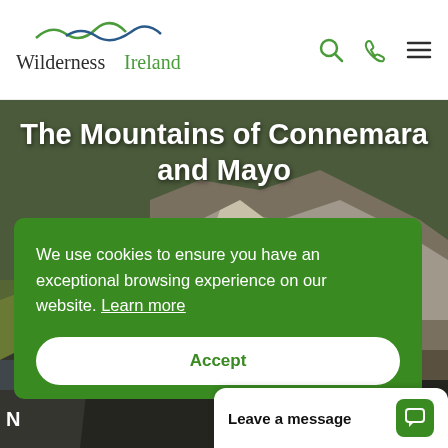Wilderness Ireland
[Figure (photo): Mountain landscape of Connemara and Mayo, Ireland, showing rocky hillside with path and green/brown terrain]
The Mountains of Connemara and Mayo
★★★★★ 35 review(s)
N
Nights
We use cookies to ensure you have an exceptional browsing experience on our website. Learn more
Accept
Leave a message